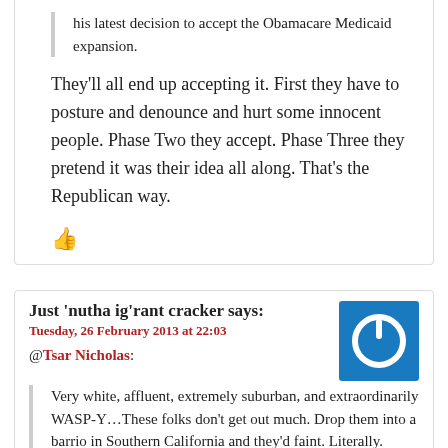his latest decision to accept the Obamacare Medicaid expansion.
They'll all end up accepting it. First they have to posture and denounce and hurt some innocent people. Phase Two they accept. Phase Three they pretend it was their idea all along. That's the Republican way.
[Figure (other): Thumbs up icon in dark red/crimson color]
Just 'nutha ig'rant cracker says:
Tuesday, 26 February 2013 at 22:03
[Figure (other): Blue square avatar with white power button symbol]
@Tsar Nicholas:
Very white, affluent, extremely suburban, and extraordinarily WASP-Y…These folks don't get out much. Drop them into a barrio in Southern California and they'd faint. Literally.